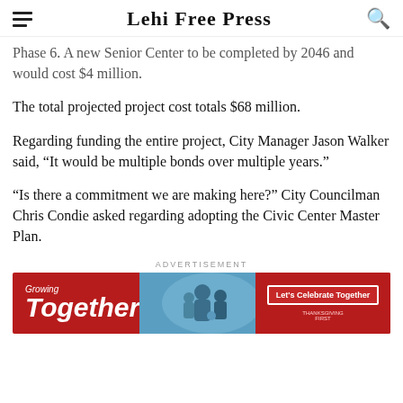Lehi Free Press
Phase 6. A new Senior Center to be completed by 2046 and would cost $4 million.
The total projected project cost totals $68 million.
Regarding funding the entire project, City Manager Jason Walker said, “It would be multiple bonds over multiple years.”
“Is there a commitment we are making here?” City Councilman Chris Condie asked regarding adopting the Civic Center Master Plan.
[Figure (infographic): Red advertisement banner for 'Growing Together' campaign with text 'Let's Celebrate Together' and a photo of people]
ADVERTISEMENT